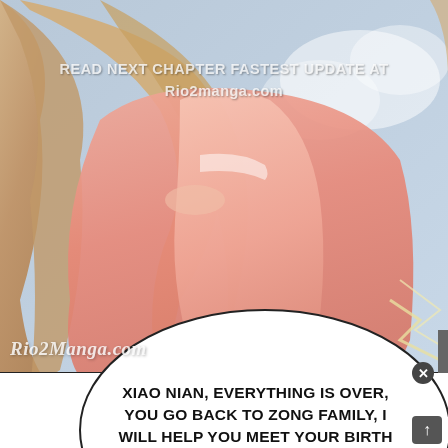[Figure (illustration): Manga/manhwa panel showing a female character with long blonde/brown hair wearing a pink outfit. The character appears to be embracing or holding something. The scene has soft pastel colors with pinks, peaches, and light blues.]
READ NEXT CHAPTER FASTEST UPDATE AT Rio2manga.com
Rio2Manga.com
XIAO NIAN, EVERYTHING IS OVER, YOU GO BACK TO ZONG FAMILY, I WILL HELP YOU MEET YOUR BIRTH PARENTS AS SOON AS POSSIBLE. THEY MISS...